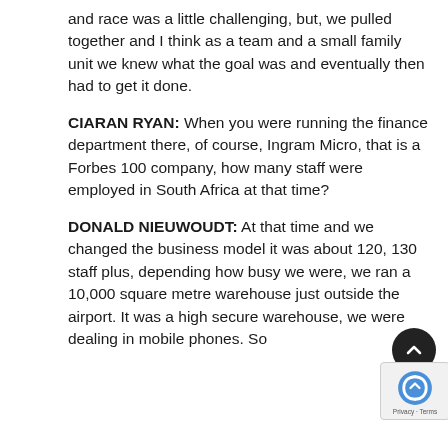and race was a little challenging, but, we pulled together and I think as a team and a small family unit we knew what the goal was and eventually then had to get it done.
CIARAN RYAN: When you were running the finance department there, of course, Ingram Micro, that is a Forbes 100 company, how many staff were employed in South Africa at that time?
DONALD NIEUWOUDT: At that time and we changed the business model it was about 120, 130 staff plus, depending how busy we were, we ran a 10,000 square metre warehouse just outside the airport. It was a high secure warehouse, we were dealing in mobile phones. So